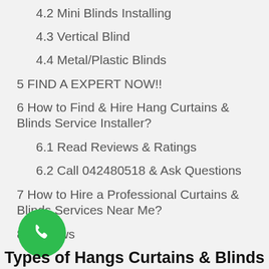4.2 Mini Blinds Installing
4.3 Vertical Blind
4.4 Metal/Plastic Blinds
5 FIND A EXPERT NOW!!
6 How to Find & Hire Hang Curtains & Blinds Service Installer?
6.1 Read Reviews & Ratings
6.2 Call 042480518 & Ask Questions
7 How to Hire a Professional Curtains & Blinds Services Near Me?
8 Reviews
[Figure (illustration): Green circular phone icon button]
Types of Hangs Curtains & Blinds